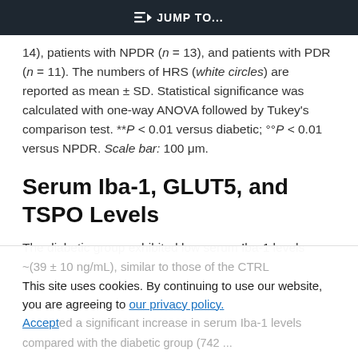JUMP TO...
14), patients with NPDR (n = 13), and patients with PDR (n = 11). The numbers of HRS (white circles) are reported as mean ± SD. Statistical significance was calculated with one-way ANOVA followed by Tukey's comparison test. **P < 0.01 versus diabetic; °°P < 0.01 versus NPDR. Scale bar: 100 μm.
Serum Iba-1, GLUT5, and TSPO Levels
The diabetic group exhibited low serum Iba-1 levels ~(39 ± 10 ng/mL), similar to those of the CTRL with (G2 = 7 ng/mL) whereas the NPDR patients ed a significant increase in serum Iba-1 levels compared with the diabetic group (742 ...
This site uses cookies. By continuing to use our website, you are agreeing to our privacy policy. Accept